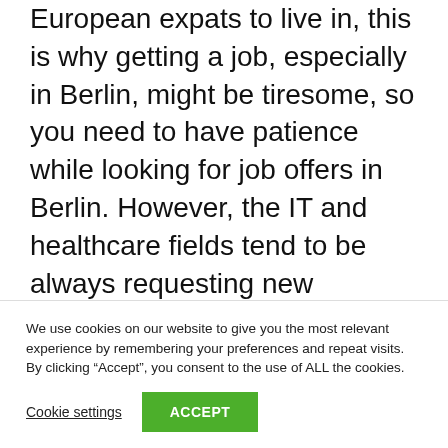European expats to live in, this is why getting a job, especially in Berlin, might be tiresome, so you need to have patience while looking for job offers in Berlin. However, the IT and healthcare fields tend to be always requesting new employees, so if you specialize in some of these it will be easier for you to land a job in Berlin.
How to find housing and work in
We use cookies on our website to give you the most relevant experience by remembering your preferences and repeat visits. By clicking “Accept”, you consent to the use of ALL the cookies.
Cookie settings  ACCEPT